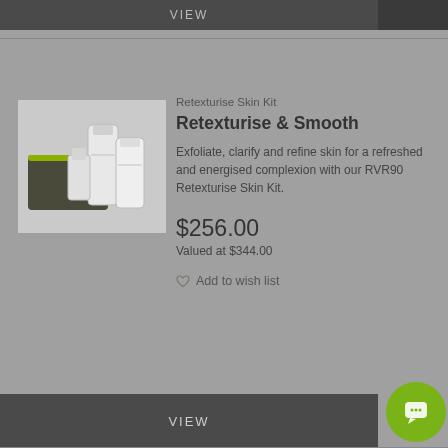VIEW
Retexturise Skin Kit
Retexturise & Smooth
Exfoliate, clarify and refine skin for a refreshed and energised complexion with our RVR90 Retexturise Skin Kit.
$256.00
Valued at $344.00
Add to wish list
[Figure (photo): Retexturise Skin Kit product photo showing cosmetic bag with tubes and bottles]
VIEW